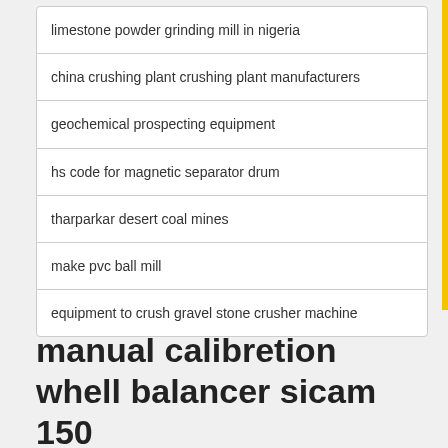limestone powder grinding mill in nigeria
china crushing plant crushing plant manufacturers
geochemical prospecting equipment
hs code for magnetic separator drum
tharparkar desert coal mines
make pvc ball mill
equipment to crush gravel stone crusher machine
manual calibretion whell balancer sicam 150